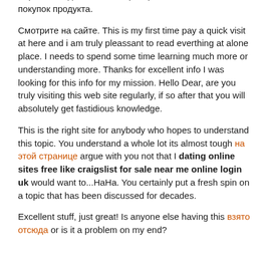Заработок здесь — это Партнерка без обязательных покупок продукта.
Смотрите на сайте. This is my first time pay a quick visit at here and i am truly pleassant to read everthing at alone place. I needs to spend some time learning much more or understanding more. Thanks for excellent info I was looking for this info for my mission. Hello Dear, are you truly visiting this web site regularly, if so after that you will absolutely get fastidious knowledge.
This is the right site for anybody who hopes to understand this topic. You understand a whole lot its almost tough на этой странице argue with you not that I dating online sites free like craigslist for sale near me online login uk would want to...HaHa. You certainly put a fresh spin on a topic that has been discussed for decades.
Excellent stuff, just great! Is anyone else having this взято отсюда or is it a problem on my end?